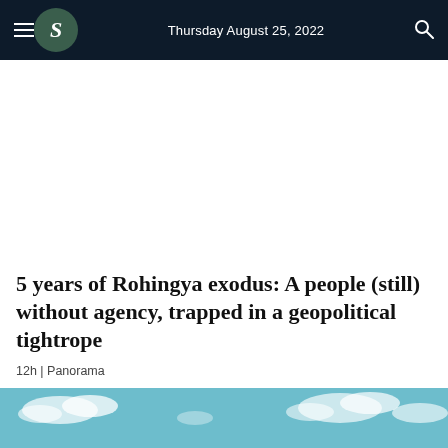Thursday August 25, 2022
5 years of Rohingya exodus: A people (still) without agency, trapped in a geopolitical tightrope
12h | Panorama
[Figure (photo): Partial view of a sky with clouds, bottom portion of an article image]